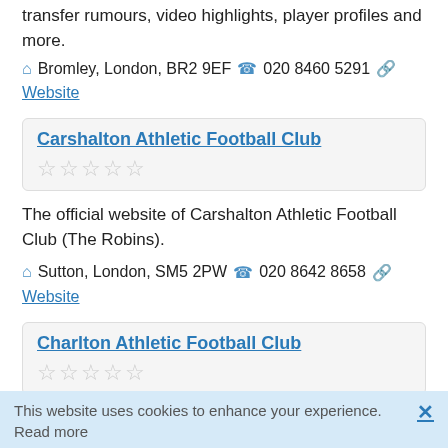transfer rumours, video highlights, player profiles and more.
🏠 Bromley, London, BR2 9EF 📞 020 8460 5291 🔗 Website
Carshalton Athletic Football Club
★★★★★ (empty stars)
The official website of Carshalton Athletic Football Club (The Robins).
🏠 Sutton, London, SM5 2PW 📞 020 8642 8658 🔗 Website
Charlton Athletic Football Club
★★★★★ (empty stars)
The official Charlton Athletic FC site with news, transfer rumours, on-line ticket sales, live match commentary,
This website uses cookies to enhance your experience. Read more